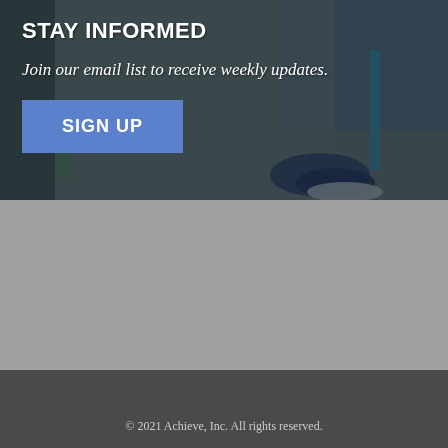[Figure (photo): Background photo of children walking with backpacks on steps/pavement, with dark overlay. Shows children's legs, sneakers, and backpacks.]
STAY INFORMED
Join our email list to receive weekly updates.
SIGN UP
© 2021 Achieve, Inc. All rights reserved.